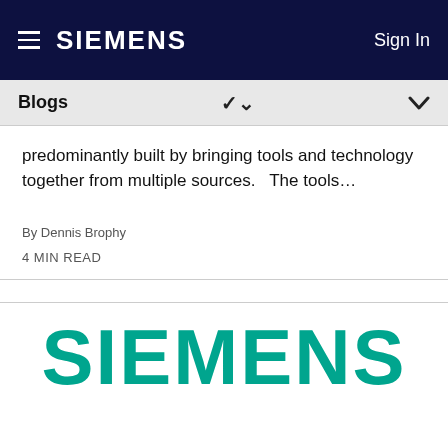SIEMENS  Sign In
Blogs
predominantly built by bringing tools and technology together from multiple sources.   The tools…
By Dennis Brophy
4 MIN READ
[Figure (logo): Siemens teal logo text on white background]